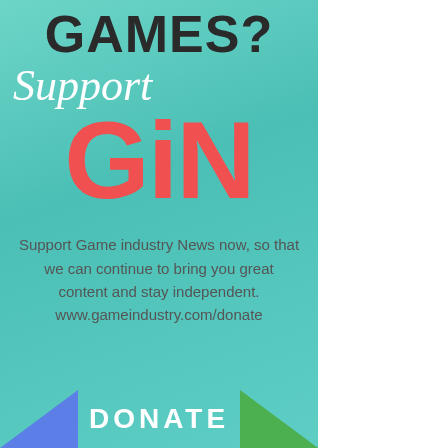GAMES?
Support
GiN
Support Game industry News now, so that we can continue to bring you great content and stay independent. www.gameindustry.com/donate
DONATE